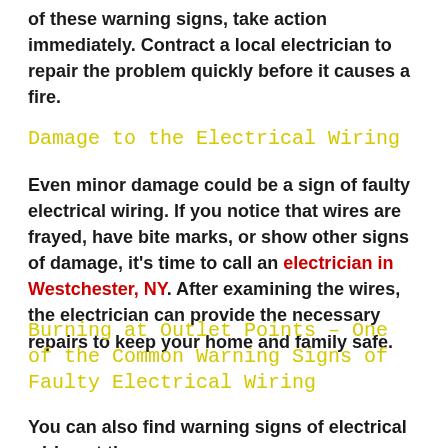of these warning signs, take action immediately. Contract a local electrician to repair the problem quickly before it causes a fire.
Damage to the Electrical Wiring
Even minor damage could be a sign of faulty electrical wiring. If you notice that wires are frayed, have bite marks, or show other signs of damage, it's time to call an electrician in Westchester, NY. After examining the wires, the electrician can provide the necessary repairs to keep your home and family safe.
Burning at Outlet Points – One of the Common Warning Signs of Faulty Electrical Wiring
You can also find warning signs of electrical wiring at the